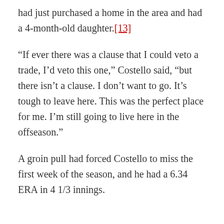had just purchased a home in the area and had a 4-month-old daughter.[13]
“If ever there was a clause that I could veto a trade, I’d veto this one,” Costello said, “but there isn’t a clause. I don’t want to go. It’s tough to leave here. This was the perfect place for me. I’m still going to live here in the offseason.”
A groin pull had forced Costello to miss the first week of the season, and he had a 6.34 ERA in 4 1/3 innings.